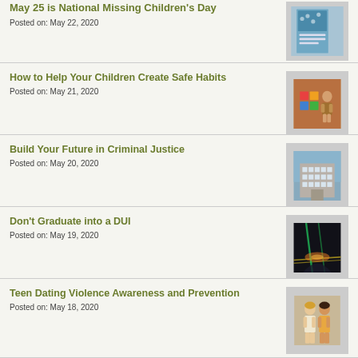May 25 is National Missing Children's Day
Posted on: May 22, 2020
[Figure (photo): Book cover related to child safety]
How to Help Your Children Create Safe Habits
Posted on: May 21, 2020
[Figure (photo): Child playing with colorful toys]
Build Your Future in Criminal Justice
Posted on: May 20, 2020
[Figure (photo): Government or law enforcement building]
Don't Graduate into a DUI
Posted on: May 19, 2020
[Figure (photo): Night driving scene with lights]
Teen Dating Violence Awareness and Prevention
Posted on: May 18, 2020
[Figure (photo): Two teenagers standing together]